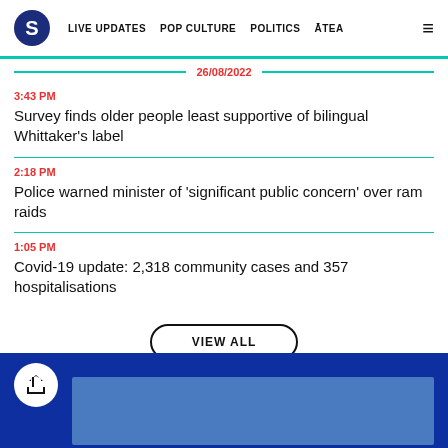S | LIVE UPDATES | POP CULTURE | POLITICS | ĀTEA
26/08/2022
3:43 PM
Survey finds older people least supportive of bilingual Whittaker's label
2:18 PM
Police warned minister of 'significant public concern' over ram raids
1:05 PM
Covid-19 update: 2,318 community cases and 357 hospitalisations
VIEW ALL
[Figure (screenshot): Blue footer area with share button and partial image]